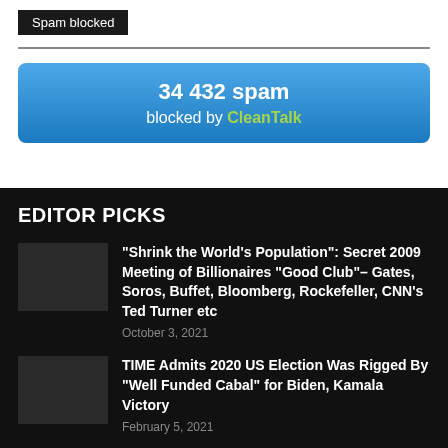Spam blocked
[Figure (infographic): Blue banner showing '34 432 spam blocked by CleanTalk']
EDITOR PICKS
“Shrink the World’s Population”: Secret 2009 Meeting of Billionaires “Good Club”– Gates, Soros, Buffet, Bloomberg, Rockefeller, CNN’s Ted Turner etc
October 3, 2021
TIME Admits 2020 US Election Was Rigged By “Well Funded Cabal” for Biden, Kamala Victory
February 5, 2021